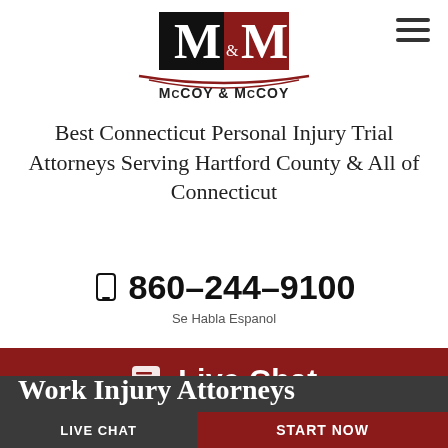[Figure (logo): McCoy & McCoy law firm logo with stylized M&M letters in black and red, with curved lines and firm name below]
Best Connecticut Personal Injury Trial Attorneys Serving Hartford County & All of Connecticut
860-244-9100
Se Habla Espanol
Live Chat
Work Injury Attorneys
LIVE CHAT   START NOW